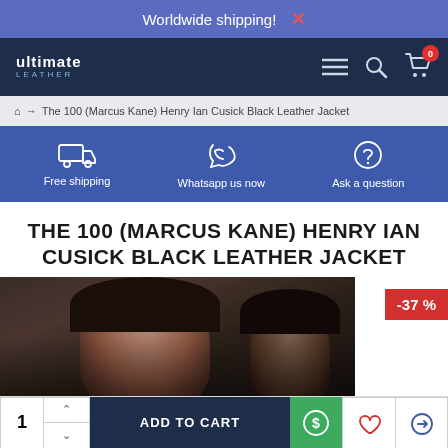Worldwide shipping! ×
[Figure (logo): Ultimate Leather logo with hamburger menu, search icon, and cart icon with badge 0]
🏠 → The 100 (Marcus Kane) Henry Ian Cusick Black Leather Jacket
[Figure (infographic): Features bar with Free shipping, Whatsapp us now, Ask a question icons on blue background]
THE 100 (MARCUS KANE) HENRY IAN CUSICK BLACK LEATHER JACKET
[Figure (photo): Product photo of The 100 Marcus Kane black leather jacket with -37% discount badge]
1  ADD TO CART  $ (dollar icon)  (heart icon)  (exchange icon)